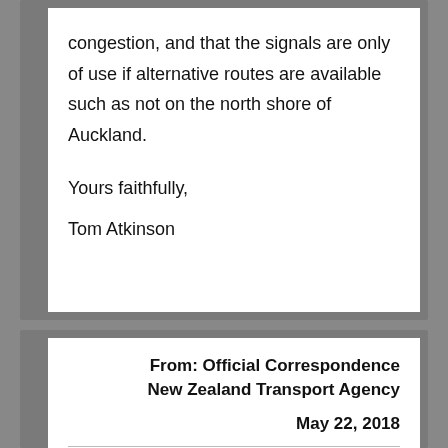congestion, and that the signals are only of use if alternative routes are available such as not on the north shore of Auckland.
Yours faithfully,
Tom Atkinson
From: Official Correspondence New Zealand Transport Agency
May 22, 2018
[Figure (other): Email attachment icon for image001.jpg, blue square with photo icon]
image001.jpg
2K Download